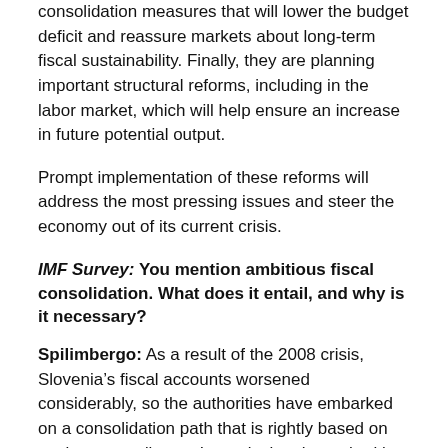consolidation measures that will lower the budget deficit and reassure markets about long-term fiscal sustainability. Finally, they are planning important structural reforms, including in the labor market, which will help ensure an increase in future potential output.
Prompt implementation of these reforms will address the most pressing issues and steer the economy out of its current crisis.
IMF Survey: You mention ambitious fiscal consolidation. What does it entail, and why is it necessary?
Spilimbergo: As a result of the 2008 crisis, Slovenia's fiscal accounts worsened considerably, so the authorities have embarked on a consolidation path that is rightly based on cutting expenditures. In particular, the authorities realize that pension reform is badly needed to ensure long-term fiscal sustainability.